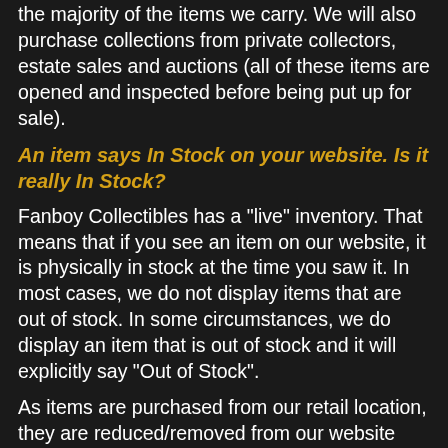the majority of the items we carry. We will also purchase collections from private collectors, estate sales and auctions (all of these items are opened and inspected before being put up for sale).
An item says In Stock on your website. Is it really In Stock?
Fanboy Collectibles has a "live" inventory. That means that if you see an item on our website, it is physically in stock at the time you saw it. In most cases, we do not display items that are out of stock. In some circumstances, we do display an item that is out of stock and it will explicitly say "Out of Stock".
As items are purchased from our retail location, they are reduced/removed from our website inventory.
If you place an order for an item and complete the order process, sometimes when you go back to look at the item